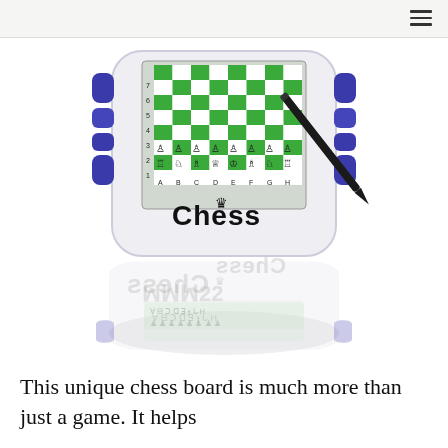[Figure (photo): A handheld electronic chess game device with a color LCD screen showing a chess board with green and white squares and chess pieces. The board shows coordinates A-H on the x-axis and numbers 1-7 on the y-axis. The device has a dark blue grip on the sides and the word 'Chess' written below the screen with a crown icon. A stylus/pen is visible to the right of the device. Below the device is a mirror reflection of the same device.]
This unique chess board is much more than just a game. It helps